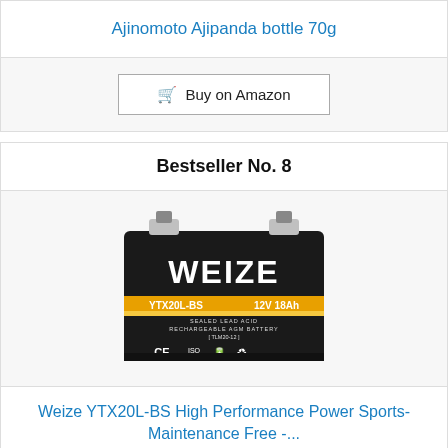Ajinomoto Ajipanda bottle 70g
🛒 Buy on Amazon
Bestseller No. 8
[Figure (photo): Weize YTX20L-BS 12V 18Ah sealed lead acid rechargeable AGM battery product image on black background with gold/yellow stripe and CE, ISO 9001 certification marks]
Weize YTX20L-BS High Performance Power Sports- Maintenance Free -...
🛒 Buy on Amazon